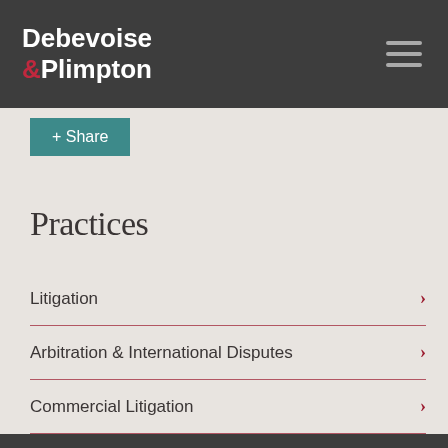Debevoise & Plimpton
+ Share
Practices
Litigation
Arbitration & International Disputes
Commercial Litigation
Consumer Finance
Crisis Management
Financial Institutions